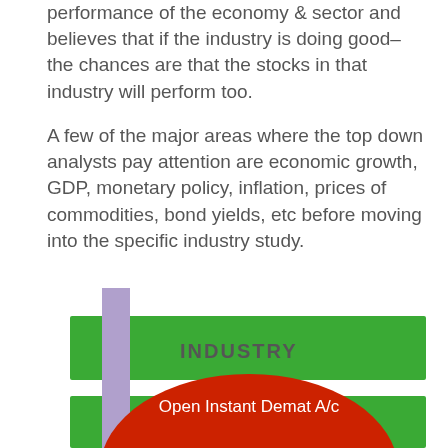performance of the economy & sector and believes that if the industry is doing good– the chances are that the stocks in that industry will perform too.

A few of the major areas where the top down analysts pay attention are economic growth, GDP, monetary policy, inflation, prices of commodities, bond yields, etc before moving into the specific industry study.
[Figure (infographic): A layered diagram showing an industry concept with a green horizontal band labeled INDUSTRY, a purple vertical pillar, and a red semicircle overlay with text 'Open Instant Demat A/c']